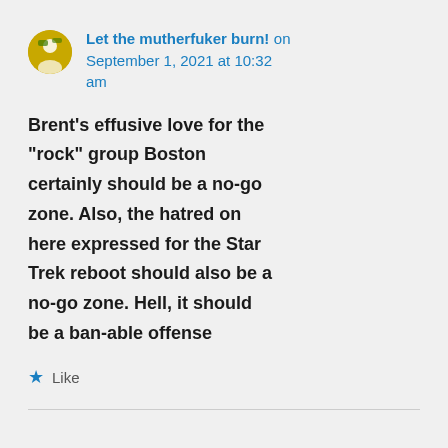Let the mutherfuker burn! on September 1, 2021 at 10:32 am
Brent’s effusive love for the “rock” group Boston certainly should be a no-go zone. Also, the hatred on here expressed for the Star Trek reboot should also be a no-go zone. Hell, it should be a ban-able offense
★ Like